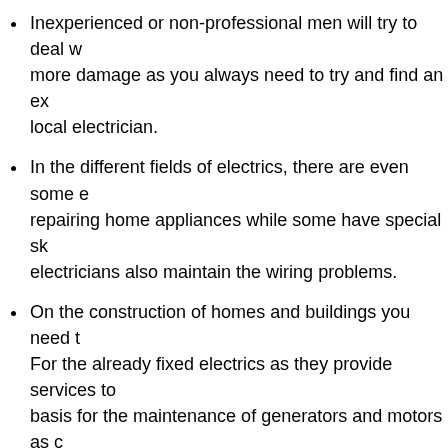Inexperienced or non-professional men will try to deal with more damage as you always need to try and find an ex... local electrician.
In the different fields of electrics, there are even some e... repairing home appliances while some have special sk... electricians also maintain the wiring problems.
On the construction of homes and buildings you need t... For the already fixed electrics as they provide services to... basis for the maintenance of generators and motors as c...
Without pressuring you to work with them you need to c... the services or to continue with the search for a better de...
You want to start looking into their qualifications and experienc... insured.
You also need to know that they are fully qualified with years e... if it is a larger company who have a team of expertise.
If you do not have sufficient skills about electricity maintenan... you badly and can be fatal, never try to handle the electrical pr...
You should start searching for local electrical companies in S...